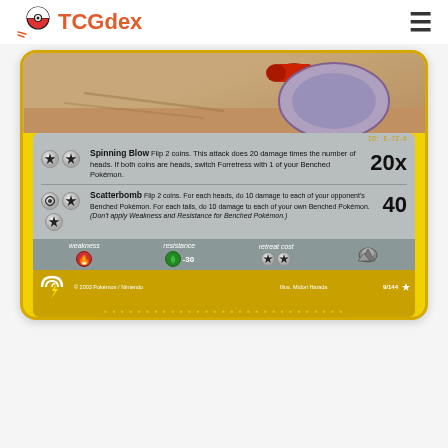TCGdex
[Figure (photo): Pokemon TCG card for Forretress (9/144) showing the bottom half of the card with attacks Spinning Blow and Scatterbomb, weakness, resistance, and retreat cost. Card from the Aquapolis/e-series set. Illustrated by Midori Harada. Copyright 2003 Pokemon/Nintendo.]